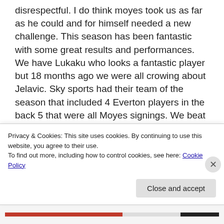disrespectful. I do think moyes took us as far as he could and for himself needed a new challenge. This season has been fantastic with some great results and performances. We have Lukaku who looks a fantastic player but 18 months ago we were all crowing about Jelavic. Sky sports had their team of the season that included 4 Everton players in the back 5 that were all Moyes signings. We beat United at old Trafford this season but so have West Brom, Newcastle, Spurs and Swansea. It
Privacy & Cookies: This site uses cookies. By continuing to use this website, you agree to their use.
To find out more, including how to control cookies, see here: Cookie Policy